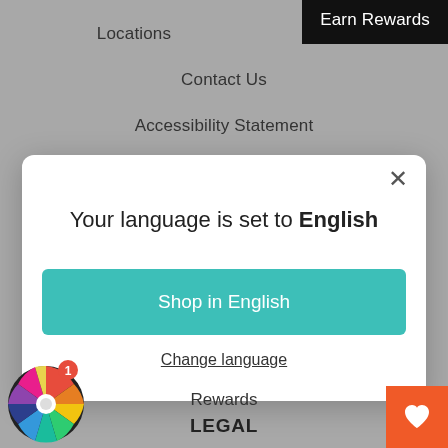Earn Rewards
Locations
Contact Us
Accessibility Statement
[Figure (screenshot): Modal dialog with language selection. Title: 'Your language is set to English'. Button: 'Shop in English' (teal). Link: 'Change language'. Close X button in top right.]
Rewards
LEGAL
[Figure (illustration): Colorful spinning prize wheel widget with notification badge showing '1']
[Figure (illustration): Orange wishlist/heart button in bottom right corner]